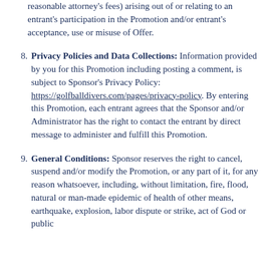reasonable attorney's fees) arising out of or relating to an entrant's participation in the Promotion and/or entrant's acceptance, use or misuse of Offer.
8. Privacy Policies and Data Collections: Information provided by you for this Promotion including posting a comment, is subject to Sponsor's Privacy Policy: https://golfballdivers.com/pages/privacy-policy. By entering this Promotion, each entrant agrees that the Sponsor and/or Administrator has the right to contact the entrant by direct message to administer and fulfill this Promotion.
9. General Conditions: Sponsor reserves the right to cancel, suspend and/or modify the Promotion, or any part of it, for any reason whatsoever, including, without limitation, fire, flood, natural or man-made epidemic of health of other means, earthquake, explosion, labor dispute or strike, act of God or public